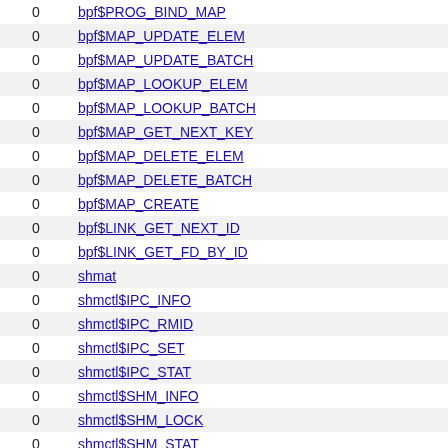|  |  |
| --- | --- |
| 0 | bpf$PROG_BIND_MAP |
| 0 | bpf$MAP_UPDATE_ELEM |
| 0 | bpf$MAP_UPDATE_BATCH |
| 0 | bpf$MAP_LOOKUP_ELEM |
| 0 | bpf$MAP_LOOKUP_BATCH |
| 0 | bpf$MAP_GET_NEXT_KEY |
| 0 | bpf$MAP_DELETE_ELEM |
| 0 | bpf$MAP_DELETE_BATCH |
| 0 | bpf$MAP_CREATE |
| 0 | bpf$LINK_GET_NEXT_ID |
| 0 | bpf$LINK_GET_FD_BY_ID |
| 0 | shmat |
| 0 | shmctl$IPC_INFO |
| 0 | shmctl$IPC_RMID |
| 0 | shmctl$IPC_SET |
| 0 | shmctl$IPC_STAT |
| 0 | shmctl$SHM_INFO |
| 0 | shmctl$SHM_LOCK |
| 0 | shmctl$SHM_STAT |
| 0 | shmctl$SHM_STAT_ANY |